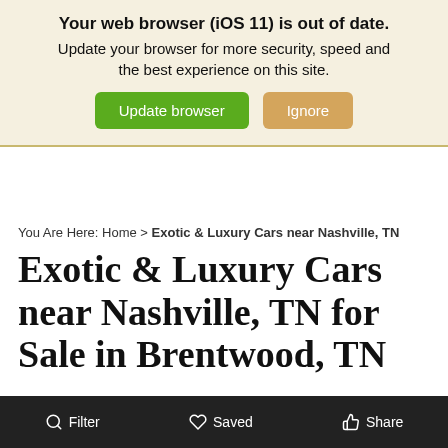Your web browser (iOS 11) is out of date. Update your browser for more security, speed and the best experience on this site.
You Are Here: Home > Exotic & Luxury Cars near Nashville, TN
Exotic & Luxury Cars near Nashville, TN for Sale in Brentwood, TN
Drive home in a new luxury or exotic car that will upgrade your daily commutes and weekend adventures alike. Whether you're looking for a sleek sedan like the Maserati Levante or a spacious SUV like a Rolls-Royce Cullinan, our luxury car dealership near Nashville, TN has the
Filter   Saved   Share